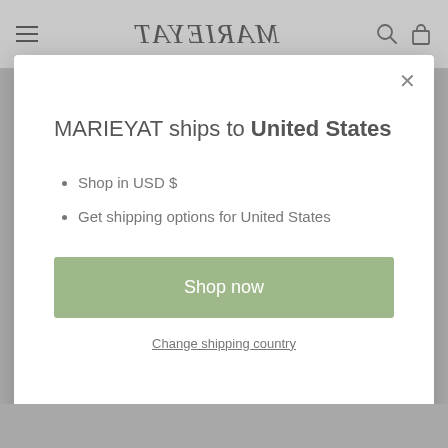MARIEYAT
MARIEYAT ships to United States
Shop in USD $
Get shipping options for United States
Shop now
Change shipping country